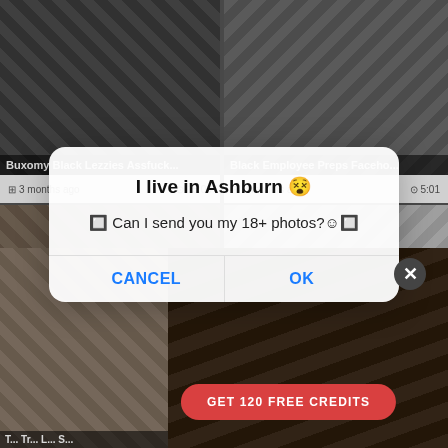[Figure (screenshot): Screenshot of an adult video website showing multiple video thumbnails with titles and metadata, overlaid by a modal dialog and a promotional area.]
Buxomy Black Lezzies Assfuck...
3 months ago  15:09
Black Employee Preps Faceho...
3 months ago  5:01
Beautiful Preg...
49 days ago
I live in Ashburn 😵
🔲 Can I send you my 18+ photos?☺🔲
CANCEL
OK
GET 120 FREE CREDITS